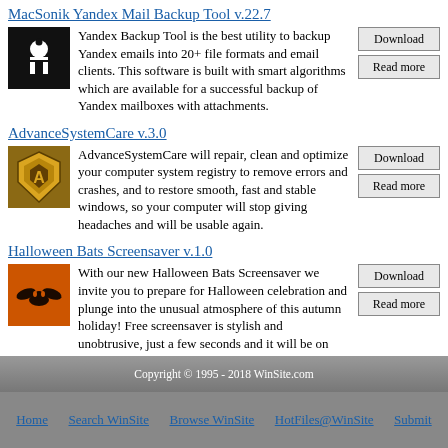MacSonik Yandex Mail Backup Tool  v.22.7
[Figure (logo): MacSonik logo - black background with white M letter]
Yandex Backup Tool is the best utility to backup Yandex emails into 20+ file formats and email clients. This software is built with smart algorithms which are available for a successful backup of Yandex mailboxes with attachments.
AdvanceSystemCare  v.3.0
[Figure (logo): AdvanceSystemCare logo - gold and dark shield icon]
AdvanceSystemCare will repair, clean and optimize your computer system registry to remove errors and crashes, and to restore smooth, fast and stable windows, so your computer will stop giving headaches and will be usable again.
Halloween Bats Screensaver  v.1.0
[Figure (logo): Halloween Bats Screensaver logo - orange background with bat silhouette]
With our new Halloween Bats Screensaver we invite you to prepare for Halloween celebration and plunge into the unusual atmosphere of this autumn holiday! Free screensaver is stylish and unobtrusive, just a few seconds and it will be on your desktop!
Copyright © 1995 - 2018 WinSite.com
Home   Search WinSite   Browse WinSite   HotFiles@WinSite   Submit